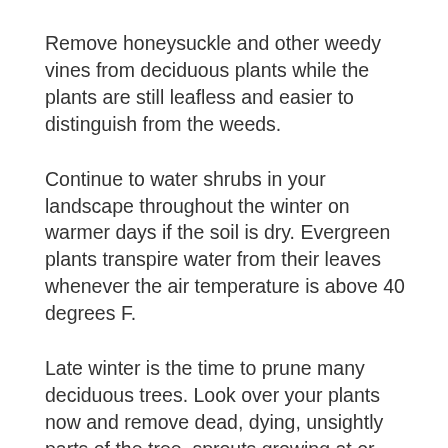Remove honeysuckle and other weedy vines from deciduous plants while the plants are still leafless and easier to distinguish from the weeds.
Continue to water shrubs in your landscape throughout the winter on warmer days if the soil is dry. Evergreen plants transpire water from their leaves whenever the air temperature is above 40 degrees F.
Late winter is the time to prune many deciduous trees. Look over your plants now and remove dead, dying, unsightly parts of the tree, sprouts growing at or near the base of the tree trunk, crossed branches, and V-shaped crotches. Call your local